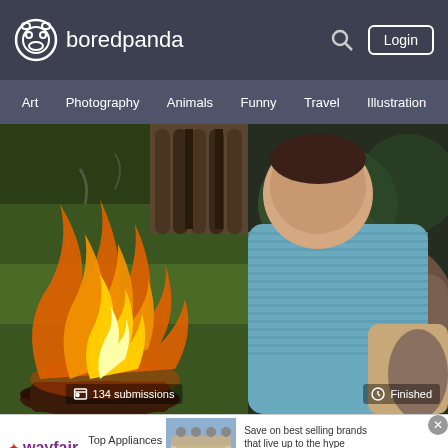[Figure (screenshot): Boredpanda website screenshot showing header with logo, navigation bar with Art, Photography, Animals, Funny, Travel, Illustration links, two content images (fire/bonfire with '134 submissions' badge and sleeping baby with 'Finished' badge), and a Wayfair advertisement banner at bottom]
boredpanda
Art
Photography
Animals
Funny
Travel
Illustration
134 submissions
Finished
Top Appliances Low Prices
Save on best selling brands that live up to the hype
Shop now